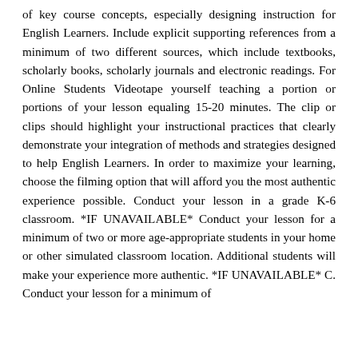of key course concepts, especially designing instruction for English Learners. Include explicit supporting references from a minimum of two different sources, which include textbooks, scholarly books, scholarly journals and electronic readings. For Online Students Videotape yourself teaching a portion or portions of your lesson equaling 15-20 minutes. The clip or clips should highlight your instructional practices that clearly demonstrate your integration of methods and strategies designed to help English Learners. In order to maximize your learning, choose the filming option that will afford you the most authentic experience possible. Conduct your lesson in a grade K-6 classroom. *IF UNAVAILABLE* Conduct your lesson for a minimum of two or more age-appropriate students in your home or other simulated classroom location. Additional students will make your experience more authentic. *IF UNAVAILABLE* C. Conduct your lesson for a minimum of